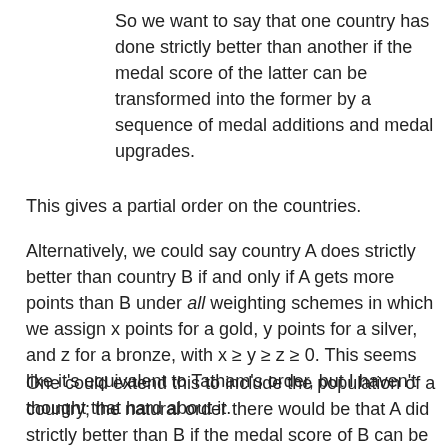So we want to say that one country has done strictly better than another if the medal score of the latter can be transformed into the former by a sequence of medal additions and medal upgrades.
This gives a partial order on the countries.
Alternatively, we could say country A does strictly better than country B if and only if A gets more points than B under all weighting schemes in which we assign x points for a gold, y points for a silver, and z for a bronze, with x ≥ y ≥ z ≥ 0. This seems like it's equivalent to Tatham's order, but I haven't thought that hard about it.
One could extend this to include the population of a country; the natural order there would be that A did strictly better than B if the medal score of B can be transformed into that of A by a sequence of medal additions, medal upgrades, and population reductions. The idea here, of course, is that if two countries win the same assortment of medals, the one with lower population did better. But going there is dangerous; do